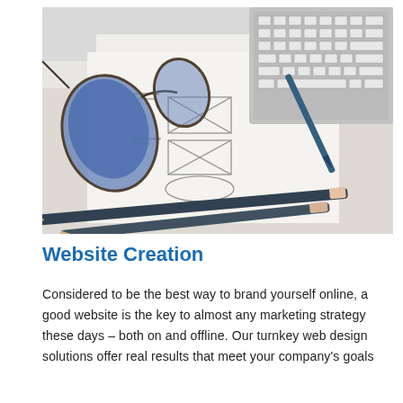[Figure (photo): A desk scene showing sunglasses resting on a wireframe sketch/mockup drawing, with two pencils in the foreground, a laptop keyboard in the upper right, and a stylus or pen in the center. The image represents web design planning.]
Website Creation
Considered to be the best way to brand yourself online, a good website is the key to almost any marketing strategy these days – both on and offline. Our turnkey web design solutions offer real results that meet your company's goals